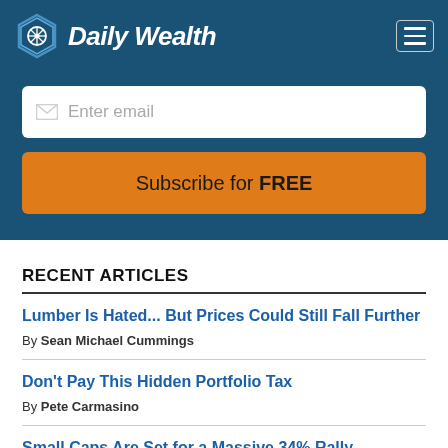Daily Wealth
Enter email
Subscribe for FREE
RECENT ARTICLES
Lumber Is Hated... But Prices Could Still Fall Further — By Sean Michael Cummings
Don't Pay This Hidden Portfolio Tax — By Pete Carmasino
Small Caps Are Set for a Massive 34% Rally — By Brett Eversole
Don't Miss the Next Comeback Story Because of